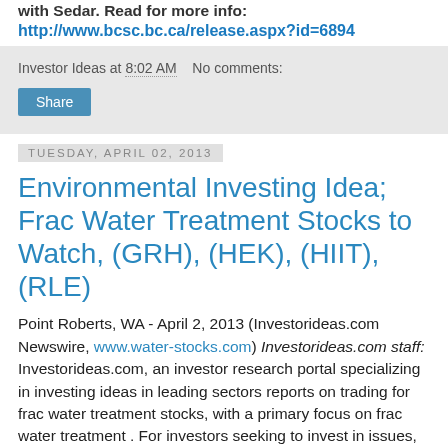with Sedar. Read for more info:
http://www.bcsc.bc.ca/release.aspx?id=6894
Investor Ideas at 8:02 AM   No comments:
Share
Tuesday, April 02, 2013
Environmental Investing Idea; Frac Water Treatment Stocks to Watch, (GRH), (HEK), (HIIT), (RLE)
Point Roberts, WA - April 2, 2013 (Investorideas.com Newswire, www.water-stocks.com) Investorideas.com staff: Investorideas.com, an investor research portal specializing in investing ideas in leading sectors reports on trading for frac water treatment stocks, with a primary focus on frac water treatment . For investors seeking to invest in issues, products and services they are concerned about, today's snapshot gives insight into players and solutions in the water